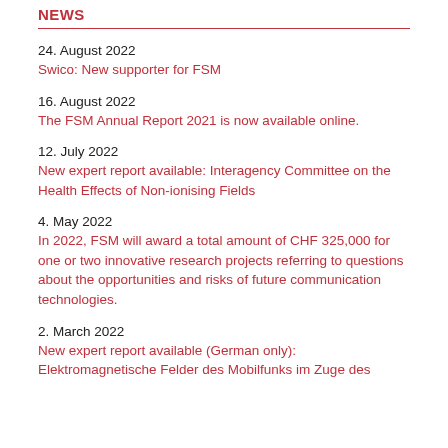NEWS
24. August 2022
Swico: New supporter for FSM
16. August 2022
The FSM Annual Report 2021 is now available online.
12. July 2022
New expert report available: Interagency Committee on the Health Effects of Non-ionising Fields
4. May 2022
In 2022, FSM will award a total amount of CHF 325,000 for one or two innovative research projects referring to questions about the opportunities and risks of future communication technologies.
2. March 2022
New expert report available (German only):
Elektromagnetische Felder des Mobilfunks im Zuge des